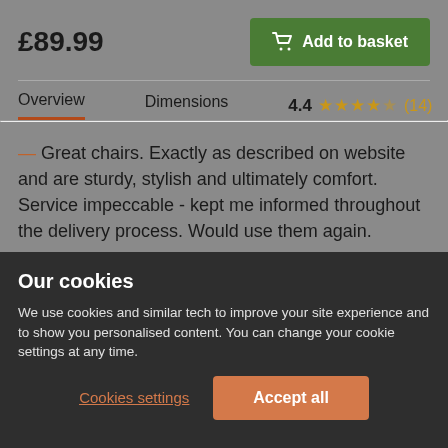£89.99
Add to basket
Overview
Dimensions
4.4 ★★★★☆ (14)
— Great chairs. Exactly as described on website and are sturdy, stylish and ultimately comfort. Service impeccable - kept me informed throughout the delivery process. Would use them again.
Our cookies
We use cookies and similar tech to improve your site experience and to show you personalised content. You can change your cookie settings at any time.
Cookies settings
Accept all